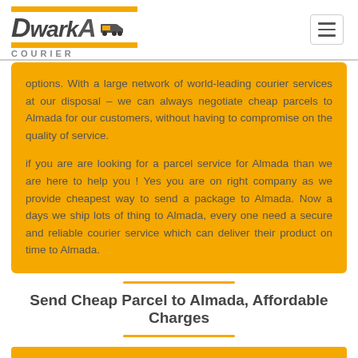Dwarka Courier
options. With a large network of world-leading courier services at our disposal – we can always negotiate cheap parcels to Almada for our customers, without having to compromise on the quality of service.
if you are are looking for a parcel service for Almada than we are here to help you ! Yes you are on right company as we provide cheapest way to send a package to Almada. Now a days we ship lots of thing to Almada, every one need a secure and reliable courier service which can deliver their product on time to Almada.
Send Cheap Parcel to Almada, Affordable Charges